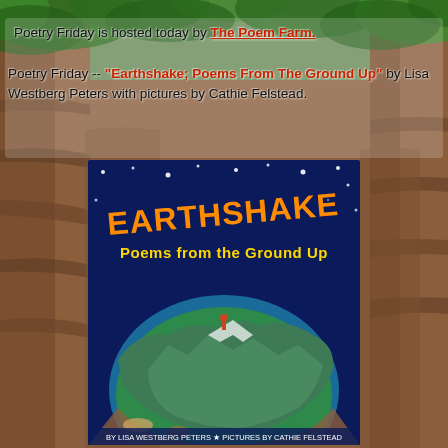[Figure (photo): Background photo of red rock canyon walls with green foliage/trees visible at top, brownish-red rocky cliffs dominate the background]
Poetry Friday is hosted today by The Poem Farm.
Poetry Friday -- "Earthshake; Poems From The Ground Up" by Lisa Westberg Peters with pictures by Cathie Felstead.
[Figure (illustration): Book cover of 'Earthshake: Poems from the Ground Up' showing a globe/earth cross-section on a dark blue starry night sky background, with the title in large orange/yellow letters. By Lisa Westberg Peters, pictures by Cathie Felstead.]